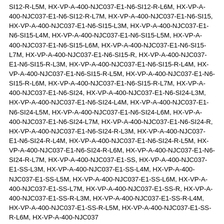SI12-R-L5M, HX-VP-A-400-NJC037-E1-N6-SI12-R-L6M, HX-VP-A-400-NJC037-E1-N6-SI12-R-L7M, HX-VP-A-400-NJC037-E1-N6-SI15, HX-VP-A-400-NJC037-E1-N6-SI15-L3M, HX-VP-A-400-NJC037-E1-N6-SI15-L4M, HX-VP-A-400-NJC037-E1-N6-SI15-L5M, HX-VP-A-400-NJC037-E1-N6-SI15-L6M, HX-VP-A-400-NJC037-E1-N6-SI15-L7M, HX-VP-A-400-NJC037-E1-N6-SI15-R, HX-VP-A-400-NJC037-E1-N6-SI15-R-L3M, HX-VP-A-400-NJC037-E1-N6-SI15-R-L4M, HX-VP-A-400-NJC037-E1-N6-SI15-R-L5M, HX-VP-A-400-NJC037-E1-N6-SI15-R-L6M, HX-VP-A-400-NJC037-E1-N6-SI15-R-L7M, HX-VP-A-400-NJC037-E1-N6-SI24, HX-VP-A-400-NJC037-E1-N6-SI24-L3M, HX-VP-A-400-NJC037-E1-N6-SI24-L4M, HX-VP-A-400-NJC037-E1-N6-SI24-L5M, HX-VP-A-400-NJC037-E1-N6-SI24-L6M, HX-VP-A-400-NJC037-E1-N6-SI24-L7M, HX-VP-A-400-NJC037-E1-N6-SI24-R, HX-VP-A-400-NJC037-E1-N6-SI24-R-L3M, HX-VP-A-400-NJC037-E1-N6-SI24-R-L4M, HX-VP-A-400-NJC037-E1-N6-SI24-R-L5M, HX-VP-A-400-NJC037-E1-N6-SI24-R-L6M, HX-VP-A-400-NJC037-E1-N6-SI24-R-L7M, HX-VP-A-400-NJC037-E1-SS, HX-VP-A-400-NJC037-E1-SS-L3M, HX-VP-A-400-NJC037-E1-SS-L4M, HX-VP-A-400-NJC037-E1-SS-L5M, HX-VP-A-400-NJC037-E1-SS-L6M, HX-VP-A-400-NJC037-E1-SS-L7M, HX-VP-A-400-NJC037-E1-SS-R, HX-VP-A-400-NJC037-E1-SS-R-L3M, HX-VP-A-400-NJC037-E1-SS-R-L4M, HX-VP-A-400-NJC037-E1-SS-R-L5M, HX-VP-A-400-NJC037-E1-SS-R-L6M, HX-VP-A-400-NJC037